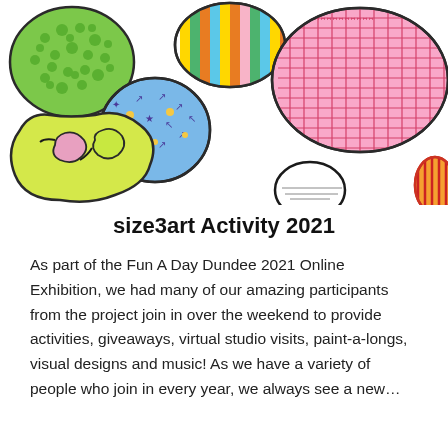[Figure (illustration): Colorful hand-drawn artwork showing various abstract blob/pebble shapes with different patterns: green dotted blob, striped colorful egg, blue blob with star patterns, large pink textured blob with repeated X/basket-weave pattern, yellow-green abstract amoeba shape, black and white pebble, and orange/red striped shape. All outlined in dark ink on white background.]
size3art Activity 2021
As part of the Fun A Day Dundee 2021 Online Exhibition, we had many of our amazing participants from the project join in over the weekend to provide activities, giveaways, virtual studio visits, paint-a-longs, visual designs and music! As we have a variety of people who join in every year, we always see a new...